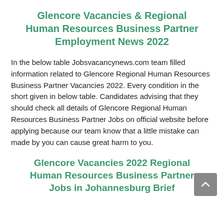Glencore Vacancies & Regional Human Resources Business Partner Employment News 2022
In the below table Jobsvacancynews.com team filled information related to Glencore Regional Human Resources Business Partner Vacancies 2022. Every condition in the short given in below table. Candidates advising that they should check all details of Glencore Regional Human Resources Business Partner Jobs on official website before applying because our team know that a little mistake can made by you can cause great harm to you.
Glencore Vacancies 2022 Regional Human Resources Business Partner Jobs in Johannesburg Brief